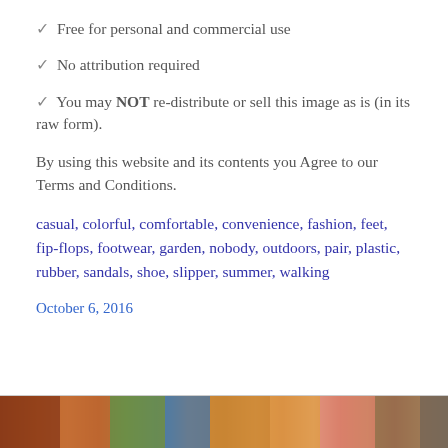✓ Free for personal and commercial use
✓ No attribution required
✓ You may NOT re-distribute or sell this image as is (in its raw form).
By using this website and its contents you Agree to our Terms and Conditions.
casual, colorful, comfortable, convenience, fashion, feet, fip-flops, footwear, garden, nobody, outdoors, pair, plastic, rubber, sandals, shoe, slipper, summer, walking
October 6, 2016
[Figure (photo): Photo strip at bottom of page showing colorful footwear/sandals]